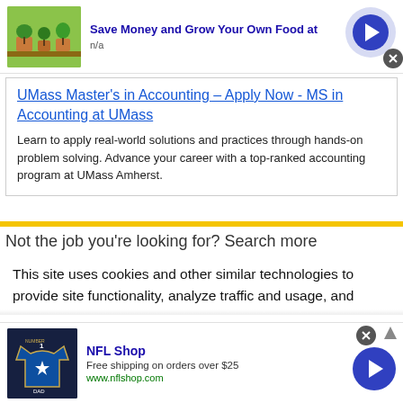[Figure (screenshot): Top advertisement: plant image with 'Save Money and Grow Your Own Food at' title, n/a subtitle, and arrow button]
UMass Master's in Accounting – Apply Now - MS in Accounting at UMass
Learn to apply real-world solutions and practices through hands-on problem solving. Advance your career with a top-ranked accounting program at UMass Amherst.
Not the job you're looking for? Search more
This site uses cookies and other similar technologies to provide site functionality, analyze traffic and usage, and
[Figure (screenshot): Bottom advertisement: NFL Shop ad with jersey image, 'Free shipping on orders over $25', www.nflshop.com, and arrow button]